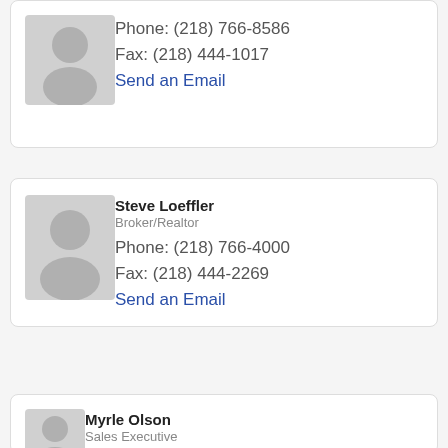[Figure (photo): Generic grey avatar/placeholder person icon, partial card at top]
Phone: (218) 766-8586
Fax: (218) 444-1017
Send an Email
[Figure (photo): Generic grey avatar/placeholder person icon for Steve Loeffler]
Steve Loeffler
Broker/Realtor
Phone: (218) 766-4000
Fax: (218) 444-2269
Send an Email
[Figure (photo): Generic grey avatar/placeholder person icon for Myrle Olson]
Myrle Olson
Sales Executive